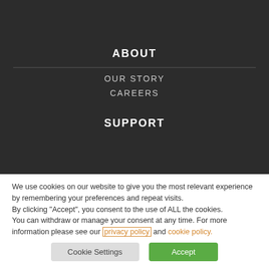ABOUT
OUR STORY
CAREERS
SUPPORT
We use cookies on our website to give you the most relevant experience by remembering your preferences and repeat visits. By clicking "Accept", you consent to the use of ALL the cookies. You can withdraw or manage your consent at any time. For more information please see our privacy policy and cookie policy.